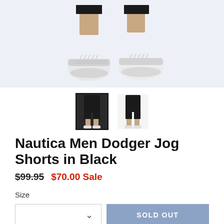[Figure (photo): Product photo showing lower legs of a man wearing black athletic shorts and white low-top sneakers on a light lavender-blue background]
[Figure (photo): Two thumbnail images of the Nautica Men Dodger Jog Shorts in Black — front view selected (bordered), back view]
Nautica Men Dodger Jog Shorts in Black
$99.95   $70.00 Sale
Size
SOLD OUT